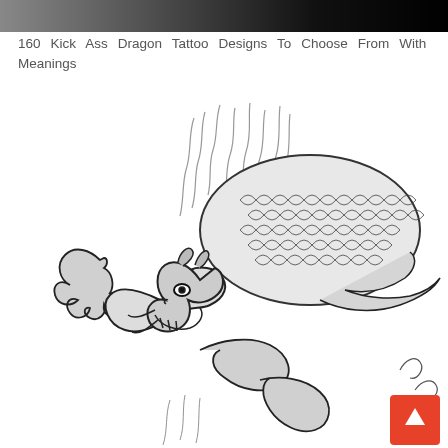[Figure (illustration): Top banner image showing a dark gradient background (grey to black), cropped top portion of a dragon tattoo design.]
160 Kick Ass Dragon Tattoo Designs To Choose From With Meanings
[Figure (illustration): A detailed black and white pencil sketch illustration of a Chinese/Asian style dragon tattoo design. The dragon is depicted with scales, claws, horns, and an open mouth with fangs, shown in a coiled pose with smoke or flames emanating from above. The style is classic tattoo flash art with bold outlines and shading.]